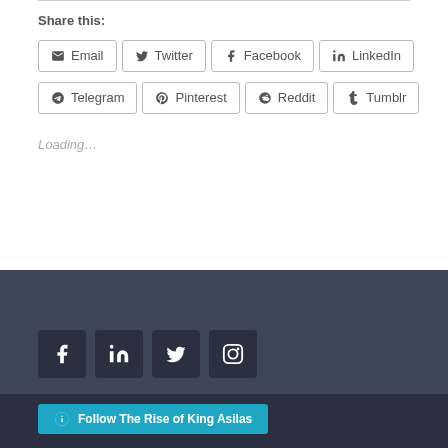Share this:
Email
Twitter
Facebook
LinkedIn
Telegram
Pinterest
Reddit
Tumblr
Loading...
[Figure (other): Dark footer section with social media icon buttons: Facebook, LinkedIn, Twitter, Instagram]
Follow The Rise of King Asilas